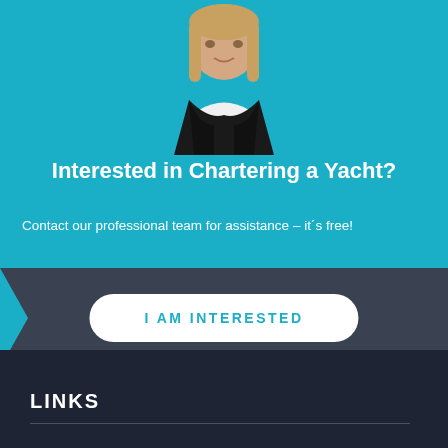[Figure (photo): Professional woman in black blazer and white shirt against teal/blue background]
Interested in Chartering a Yacht?
Contact our professional team for assistance – it´s free!
I AM INTERESTED
LINKS